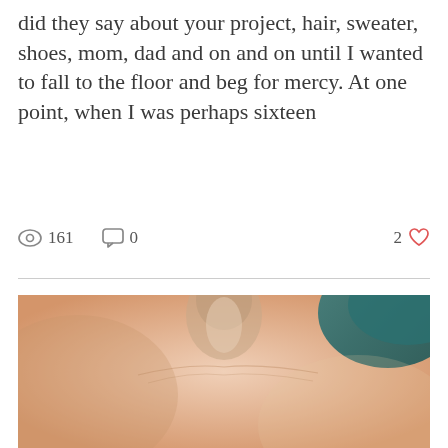did they say about your project, hair, sweater, shoes, mom, dad and on and on until I wanted to fall to the floor and beg for mercy. At one point, when I was perhaps sixteen
161  0  2
[Figure (photo): Close-up photo of a person's neck and upper chest area, with teal/dark blue fabric visible at upper right corner. The skin is pale/peachy in tone.]